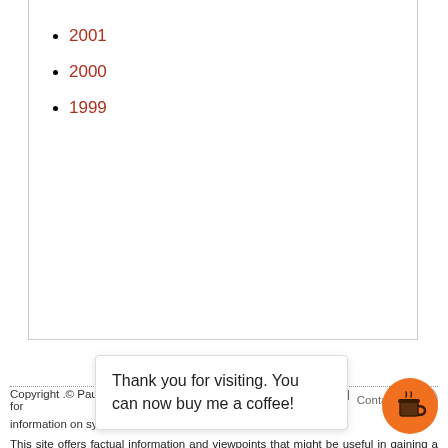2001
2000
1999
Copyright .© Paul Craig Roberts 2021. Please contact us for  RSS  |  Contact  |  information on syndication rights.
This site offers factual information and viewpoints that might be useful in gaining a better understanding of the events of our times. We believe that the information comes from reliable sources, but cannot guarantee the information to be free of mistakes. We believe that the viewpoints offered are not likely to be shared by the corporate media and, therefore, are useful in providing an alternative perspective. We do not necessarily endorse the statements of any contributor.